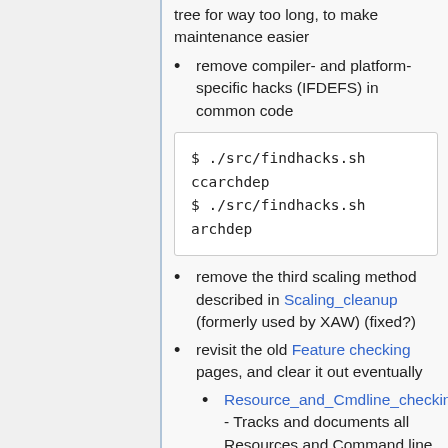tree for way too long, to make maintenance easier
remove compiler- and platform-specific hacks (IFDEFS) in common code
$ ./src/findhacks.sh ccarchdep
$ ./src/findhacks.sh archdep
remove the third scaling method described in Scaling_cleanup (formerly used by XAW) (fixed?)
revisit the old Feature checking pages, and clear it out eventually
Resource_and_Cmdline_checking - Tracks and documents all Resources and Command line